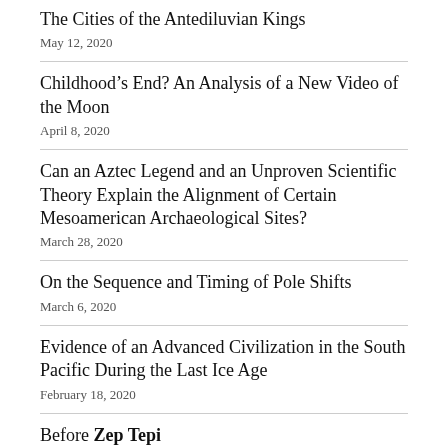The Cities of the Antediluvian Kings
May 12, 2020
Childhood's End? An Analysis of a New Video of the Moon
April 8, 2020
Can an Aztec Legend and an Unproven Scientific Theory Explain the Alignment of Certain Mesoamerican Archaeological Sites?
March 28, 2020
On the Sequence and Timing of Pole Shifts
March 6, 2020
Evidence of an Advanced Civilization in the South Pacific During the Last Ice Age
February 18, 2020
Before Zep Tepi
January 24, 2020